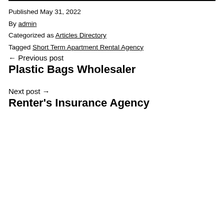Published May 31, 2022
By admin
Categorized as Articles Directory
Tagged Short Term Apartment Rental Agency
← Previous post
Plastic Bags Wholesaler
Next post →
Renter's Insurance Agency